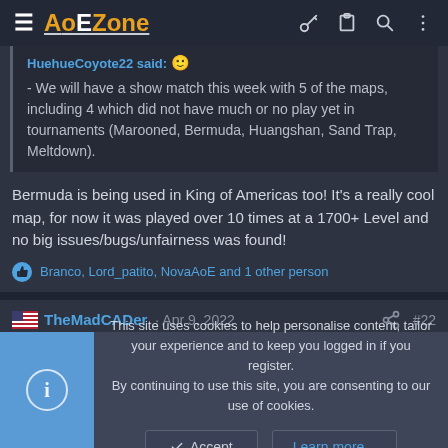AoEZone
HuehueCoyote22 said: - We will have a show match this week with 5 of the maps, including 4 which did not have much or no play yet in tournaments (Marooned, Bermuda, Huangshan, Sand Trap, Meltdown).
Bermuda is being used in King of Americas too! It's a really cool map, for now it was played over 10 times at a 1700+ Level and no big issues/bugs/unfairness was found!
Branco, Lord_patito, NovaAoE and 1 other person
TheMadCADer · Apr 9, 2022 #22
This site uses cookies to help personalise content, tailor your experience and to keep you logged in if you register. By continuing to use this site, you are consenting to our use of cookies.
Accept
Learn more...